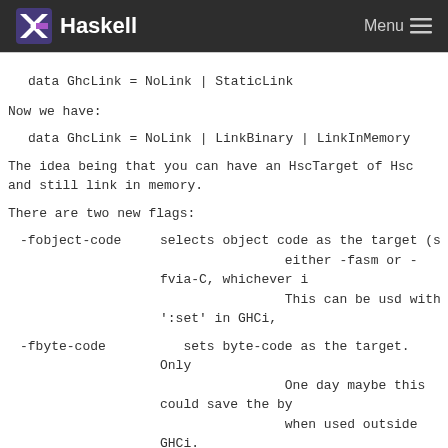Haskell  Menu
Now we have:
The idea being that you can have an HscTarget of Hsc and still link in memory.
There are two new flags:
-fobject-code   selects object code as the target (s either -fasm or -fvia-C, whichever i This can be usd with ':set' in GHCi,
-fbyte-code     sets byte-code as the target.  Only One day maybe this could save the by when used outside GHCi.
(names chosen for consistency with -fno-code).